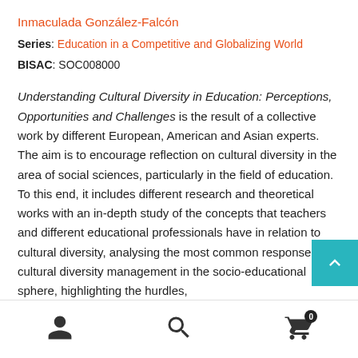Inmaculada González-Falcón
Series: Education in a Competitive and Globalizing World
BISAC: SOC008000
Understanding Cultural Diversity in Education: Perceptions, Opportunities and Challenges is the result of a collective work by different European, American and Asian experts. The aim is to encourage reflection on cultural diversity in the area of social sciences, particularly in the field of education. To this end, it includes different research and theoretical works with an in-depth study of the concepts that teachers and different educational professionals have in relation to cultural diversity, analysing the most common responses to cultural diversity management in the socio-educational sphere, highlighting the hurdles,